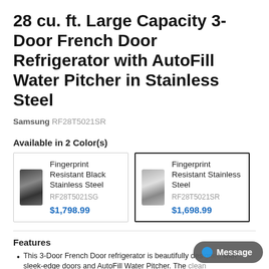28 cu. ft. Large Capacity 3-Door French Door Refrigerator with AutoFill Water Pitcher in Stainless Steel
Samsung RF28T5021SR
Available in 2 Color(s)
| Image | Name | Model | Price |
| --- | --- | --- | --- |
| [image] | Fingerprint Resistant Black Stainless Steel | RF28T5021SG | $1,798.99 |
| [image] | Fingerprint Resistant Stainless Steel | RF28T5021SR | $1,698.99 |
Features
This 3-Door French Door refrigerator is beautifully designed with sleek-edge doors and AutoFill Water Pitcher. The clean